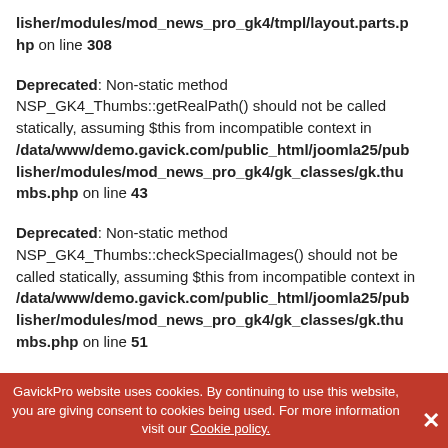lisher/modules/mod_news_pro_gk4/tmpl/layout.parts.php on line 308
Deprecated: Non-static method NSP_GK4_Thumbs::getRealPath() should not be called statically, assuming $this from incompatible context in /data/www/demo.gavick.com/public_html/joomla25/publisher/modules/mod_news_pro_gk4/gk_classes/gk.thumbs.php on line 43
Deprecated: Non-static method NSP_GK4_Thumbs::checkSpecialImages() should not be called statically, assuming $this from incompatible context in /data/www/demo.gavick.com/public_html/joomla25/publisher/modules/mod_news_pro_gk4/gk_classes/gk.thumbs.php on line 51
GavickPro website uses cookies. By continuing to use this website, you are giving consent to cookies being used. For more information visit our Cookie policy.